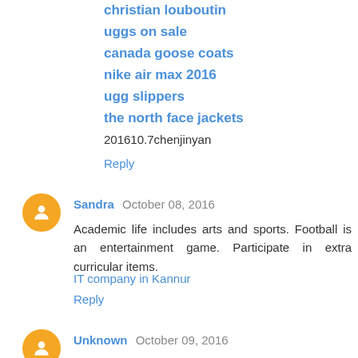ugg boots
christian louboutin
uggs on sale
canada goose coats
nike air max 2016
ugg slippers
the north face jackets
201610.7chenjinyan
Reply
Sandra  October 08, 2016
Academic life includes arts and sports. Football is an entertainment game. Participate in extra curricular items.
IT company in Kannur
Reply
Unknown  October 09, 2016